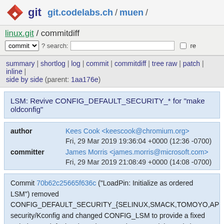git  git.codelabs.ch / muen /
linux.git / commitdiff
commit ? search:  re
summary | shortlog | log | commit | commitdiff | tree raw | patch | inline | side by side (parent: 1aa176e)
LSM: Revive CONFIG_DEFAULT_SECURITY_* for "make oldconfig"
| field | value |
| --- | --- |
| author | Kees Cook <keescook@chromium.org> |
|  | Fri, 29 Mar 2019 19:36:04 +0000 (12:36 -0700) |
| committer | James Morris <james.morris@microsoft.com> |
|  | Fri, 29 Mar 2019 21:08:49 +0000 (14:08 -0700) |
Commit 70b62c25665f636c ("LoadPin: Initialize as ordered LSM") removed CONFIG_DEFAULT_SECURITY_{SELINUX,SMACK,TOMOYO,APPARMО... security/Kconfig and changed CONFIG_LSM to provide a fixed ordering as ... default value. That commit expected that existing users (upgrading from